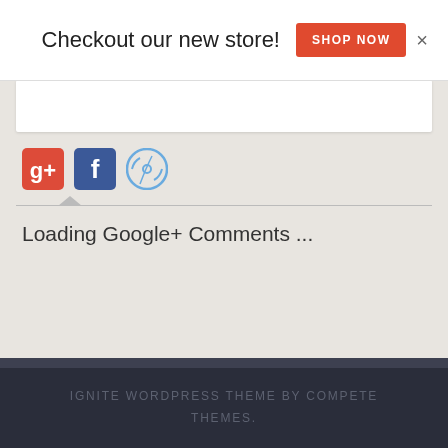Checkout our new store! SHOP NOW ×
[Figure (screenshot): Social media icons: Google+, Facebook, WordPress]
Loading Google+ Comments ...
Love4MyDog
All you need 4 your best friend
IGNITE WORDPRESS THEME BY COMPETE THEMES.